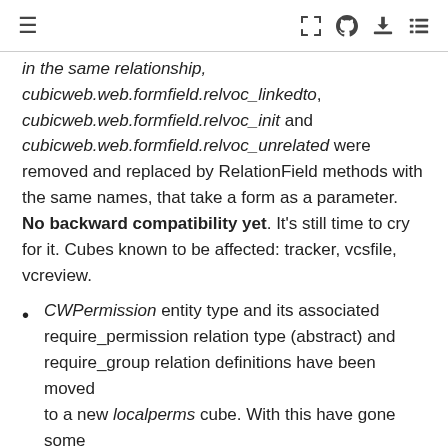≡  [icons: expand, github, download, list]
in the same relationship, cubicweb.web.formfield.relvoc_linkedto, cubicweb.web.formfield.relvoc_init and cubicweb.web.formfield.relvoc_unrelated were removed and replaced by RelationField methods with the same names, that take a form as a parameter. No backward compatibility yet. It's still time to cry for it. Cubes known to be affected: tracker, vcsfile, vcreview.
CWPermission entity type and its associated require_permission relation type (abstract) and require_group relation definitions have been moved to a new localperms cube. With this have gone some functions from the cubicweb.schemas package as well as some views. This makes cubicweb itself smaller while you get all the local permissions stuff